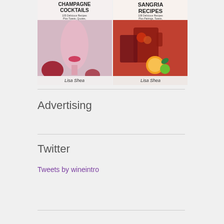[Figure (illustration): Two book covers side by side: 'Champagne Cocktails' and 'Sangria Recipes', both by Lisa Shea. The champagne cocktails book shows pink cocktail glasses and a ribbon; the sangria book shows red sangria in glasses with orange and lime slices.]
Advertising
Twitter
Tweets by wineintro